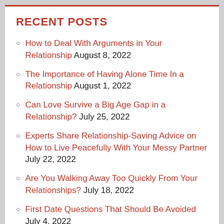RECENT POSTS
How to Deal With Arguments in Your Relationship August 8, 2022
The Importance of Having Alone Time In a Relationship August 1, 2022
Can Love Survive a Big Age Gap in a Relationship? July 25, 2022
Experts Share Relationship-Saving Advice on How to Live Peacefully With Your Messy Partner July 22, 2022
Are You Walking Away Too Quickly From Your Relationships? July 18, 2022
First Date Questions That Should Be Avoided July 4, 2022